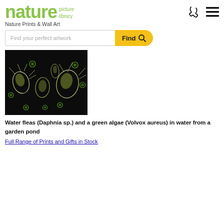[Figure (logo): Nature Picture Library logo with green text]
Nature Prints & Wall Art
Find your perfect artwork
[Figure (photo): Water fleas (Daphnia sp.) and a green algae (Volvox aureus) in water from a garden pond on black background]
Water fleas (Daphnia sp.) and a green algae (Volvox aureus) in water from a garden pond
Full Range of Prints and Gifts in Stock